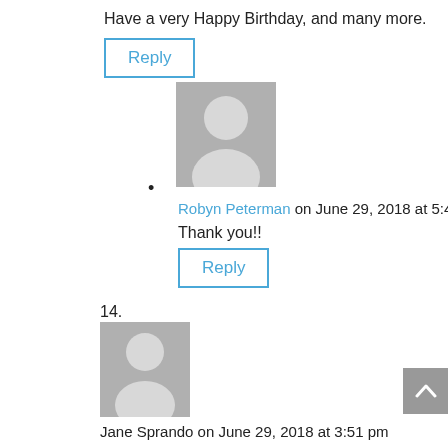Have a very Happy Birthday, and many more.
Reply
[Figure (illustration): Gray placeholder avatar image of a person silhouette]
bullet point
Robyn Peterman on June 29, 2018 at 5:48 pm
Thank you!!
Reply
14.
[Figure (illustration): Gray placeholder avatar image of a person silhouette]
Jane Sprando on June 29, 2018 at 3:51 pm
Robyn, I just love the way you write! Your thoughts and conversations are hysterical! Is dash your muse???